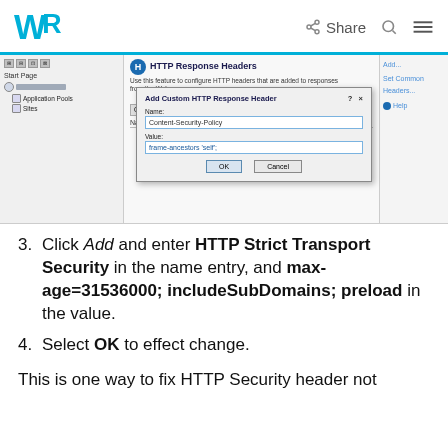WR | Share
[Figure (screenshot): Screenshot of IIS HTTP Response Headers dialog showing 'Add Custom HTTP Response Header' dialog with Name field containing 'Content-Security-Policy' and Value field containing 'frame-ancestors self;', with OK and Cancel buttons]
3. Click Add and enter HTTP Strict Transport Security in the name entry, and max-age=31536000; includeSubDomains; preload in the value.
4. Select OK to effect change.
This is one way to fix HTTP Security header not